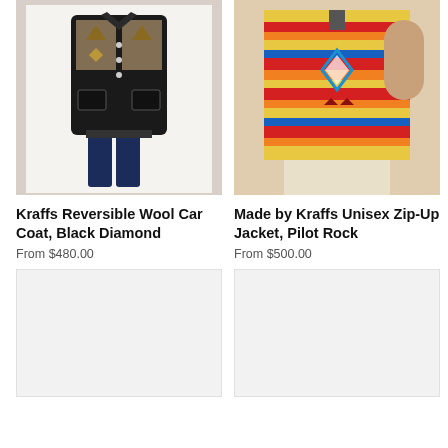[Figure (photo): Photo of a mannequin wearing a black and tan Native American pattern wool car coat with dark jeans]
[Figure (photo): Photo of a person wearing a colorful striped/Aztec pattern zip-up jacket in red, yellow, blue tones with tan pants]
Kraffs Reversible Wool Car Coat, Black Diamond
Made by Kraffs Unisex Zip-Up Jacket, Pilot Rock
From $480.00
From $500.00
[Figure (photo): Loading/placeholder image area (light gray) bottom left]
[Figure (photo): Loading/placeholder image area (light gray) bottom right]